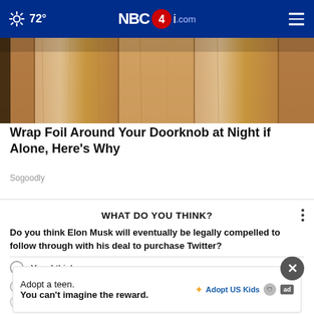72° NBC 4i.com
[Figure (photo): Close-up photo of a wooden door surface with vertical grain lines, warm beige/tan tones]
Wrap Foil Around Your Doorknob at Night if Alone, Here's Why
Sogoodly
WHAT DO YOU THINK?
Do you think Elon Musk will eventually be legally compelled to follow through with his deal to purchase Twitter?
Yes, I think so
Maybe, I'm not sure
No
[Figure (infographic): Ad banner for Adopt US Kids - 'Adopt a teen. You can't imagine the reward.']